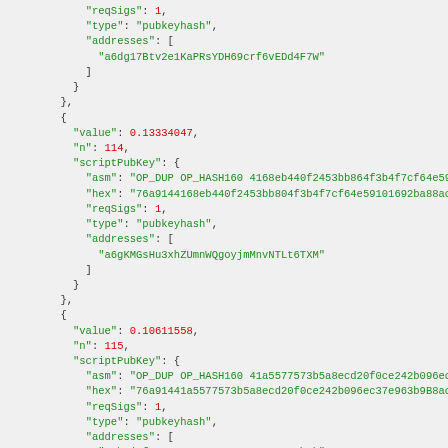JSON code block showing Bitcoin transaction output scriptPubKey entries for values 0.13334047 (n:114), 0.10611558 (n:115), and 0.10642401 (n:116)